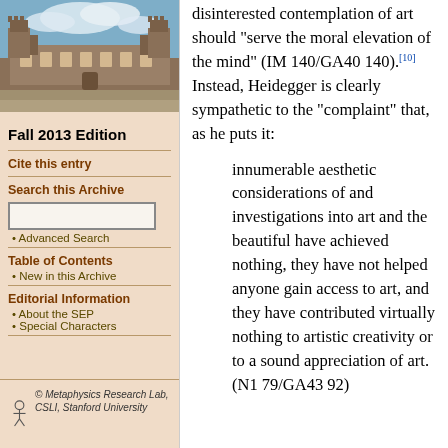[Figure (photo): Photo of a historic university building (stone architecture with towers) against a blue sky with clouds]
Fall 2013 Edition
Cite this entry
Search this Archive
Advanced Search
Table of Contents
New in this Archive
Editorial Information
About the SEP
Special Characters
© Metaphysics Research Lab, CSLI, Stanford University
disinterested contemplation of art should “serve the moral elevation of the mind” (IM 140/GA40 140).[10] Instead, Heidegger is clearly sympathetic to the “complaint” that, as he puts it:
innumerable aesthetic considerations of and investigations into art and the beautiful have achieved nothing, they have not helped anyone gain access to art, and they have contributed virtually nothing to artistic creativity or to a sound appreciation of art. (N1 79/GA43 92)